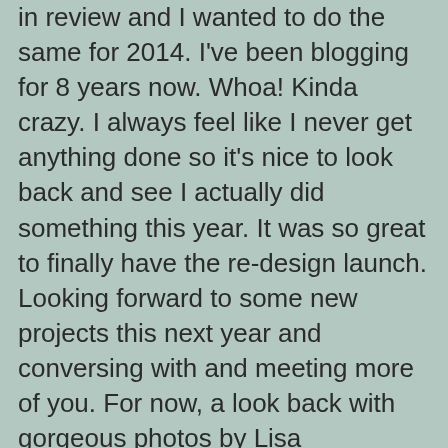in review and I wanted to do the same for 2014. I've been blogging for 8 years now. Whoa! Kinda crazy. I always feel like I never get anything done so it's nice to look back and see I actually did something this year. It was so great to finally have the re-design launch. Looking forward to some new projects this next year and conversing with and meeting more of you. For now, a look back with gorgeous photos by Lisa Warninger, Leela Cyd, Aran Goyoaga, Linnea Castro and The Bloomist.
Portland, Flowers + Styling